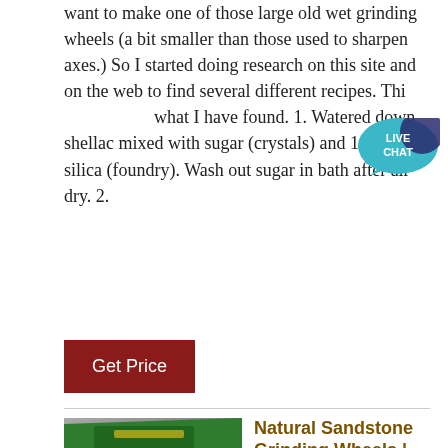want to make one of those large old wet grinding wheels (a bit smaller than those used to sharpen axes.) So I started doing research on this site and on the web to find several different recipes. This what I have found. 1. Watered down shellac mixed with sugar (crystals) and 1000 grit silica (foundry). Wash out sugar in bath after air dry. 2.
[Figure (illustration): Live Chat button bubble icon — teal speech bubble with white text 'LIVE CHAT']
Get Price
[Figure (photo): Photo of a man standing in front of large green industrial mining machinery in a warehouse/factory, with ACRUSHER Mining Equipment logo overlay in the bottom right corner.]
Natural Sandstone Grinding Wheels | Products & Suppliers ...
Find Natural